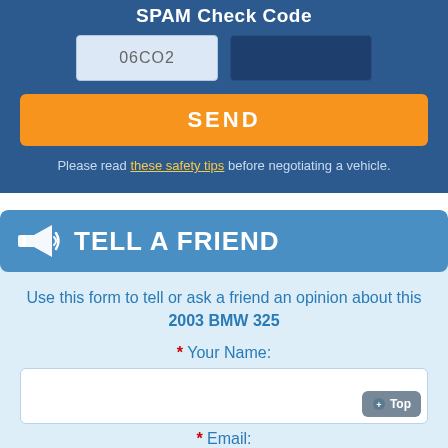SPAM Check Code
06CO2
SEND
Please read these safety tips before negotiating a vehicle.
TELL A FRIEND
Use this form to tell or ask a friend an opinion about this 2003 BMW 325
* Your Name:
* Email: